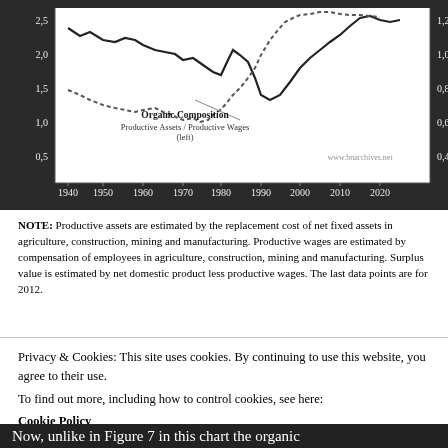[Figure (continuous-plot): Line chart showing Organic Composition (Productive Assets / Productive Wages, left axis 0.5–2.5) and a secondary right axis (0.4–1.2) from 1940 to 2020. Two lines: a solid line and a dotted line crossing and diverging over time.]
NOTE: Productive assets are estimated by the replacement cost of net fixed assets in agriculture, construction, mining and manufacturing. Productive wages are estimated by compensation of employees in agriculture, construction, mining and manufacturing. Surplus value is estimated by net domestic product less productive wages. The last data points are for 2012.
Privacy & Cookies: This site uses cookies. By continuing to use this website, you agree to their use.
To find out more, including how to control cookies, see here:
Cookie Policy
Now, unlike in Figure 7 in this chart the organic